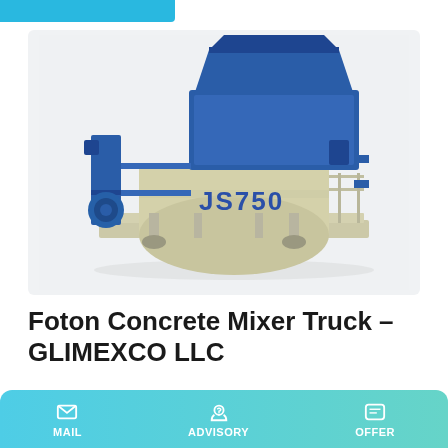[Figure (photo): JS750 concrete mixer machine — a large industrial twin-shaft concrete mixer with blue steel hopper on top, beige cylindrical drum labeled JS750, blue support frame, motor unit on left side, and metal walkway/safety railing on right side. Background is light grey.]
Foton Concrete Mixer Truck – GLIMEXCO LLC
Bottom price foton 12 cubic meter concrete mixer truck for sale, Product Description: CONCRETE MIXER TRUCK #...